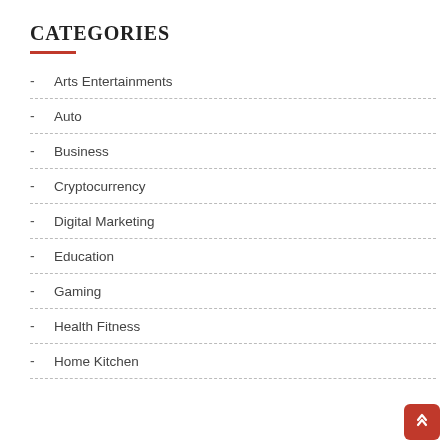CATEGORIES
Arts Entertainments
Auto
Business
Cryptocurrency
Digital Marketing
Education
Gaming
Health Fitness
Home Kitchen